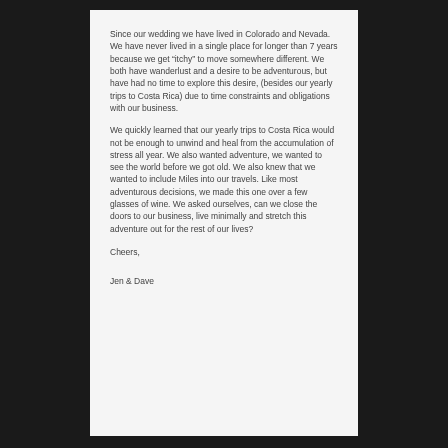Since our wedding we have lived in Colorado and Nevada.  We have never lived in a single place for longer than 7 years because we get “itchy” to move somewhere different.  We both have wanderlust and a desire to be adventurous, but have had no time to explore this desire, (besides our yearly trips to Costa Rica) due to time constraints and obligations with our business.
We quickly learned that our yearly trips to Costa Rica would not be enough to unwind and heal from the accumulation of stress all year. We also wanted adventure, we wanted to see the world before we got old. We also knew that we wanted to include Miles into our travels.  Like most adventurous decisions, we made this one over a few glasses of wine.  We asked ourselves, can we close the doors to our business, live minimally and stretch this adventure out for the rest of our lives?
Cheers,
Jen & Dave